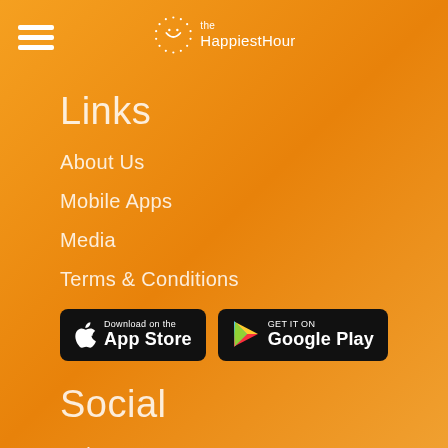[Figure (logo): The HappiestHour logo with hamburger menu icon and circular smiley face logo with text 'the HappiestHour']
Links
About Us
Mobile Apps
Media
Terms & Conditions
[Figure (other): Download on the App Store button and Get it on Google Play button]
Social
Twitter
Instagram
Facebook